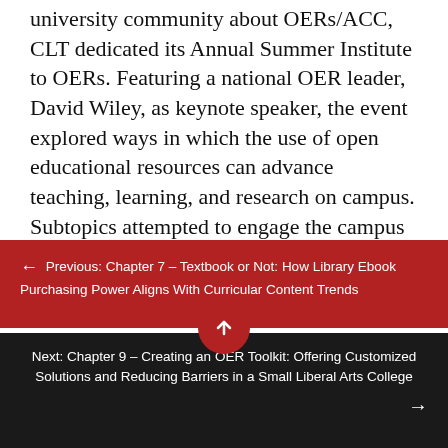university community about OERs/ACC, CLT dedicated its Annual Summer Institute to OERs. Featuring a national OER leader, David Wiley, as keynote speaker, the event explored ways in which the use of open educational resources can advance teaching, learning, and research on campus. Subtopics attempted to engage the campus community to discuss, reflect upon, and answer some of the following questions:
1. What are some of the challenges associated
← Previous: Chapter 7 – Textbook or Not: How Library Ebook Purchasing Power Aligns With Curricular Content Trends
Next: Chapter 9 – Creating an OER Toolkit: Offering Customized Solutions and Reducing Barriers in a Small Liberal Arts College →